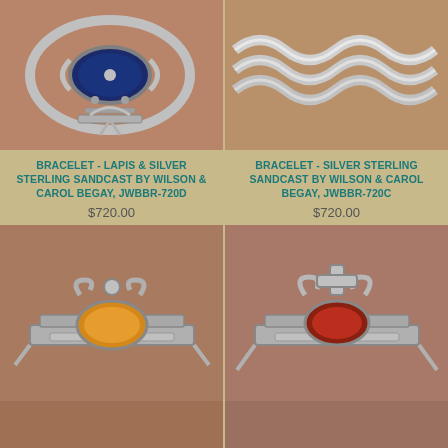[Figure (photo): Close-up photo of a silver bracelet with lapis stone on terracotta/sandy background]
BRACELET - LAPIS & SILVER STERLING SANDCAST BY WILSON & CAROL BEGAY, JWBBR-720D
$720.00
[Figure (photo): Close-up photo of a silver sterling sandcast wave-pattern bracelet on terracotta/sandy background]
BRACELET - SILVER STERLING SANDCAST BY WILSON & CAROL BEGAY, JWBBR-720C
$720.00
[Figure (photo): Close-up photo of a silver bracelet with yellow/orange stone on terracotta background]
[Figure (photo): Close-up photo of a silver bracelet with red/orange stone on terracotta background]